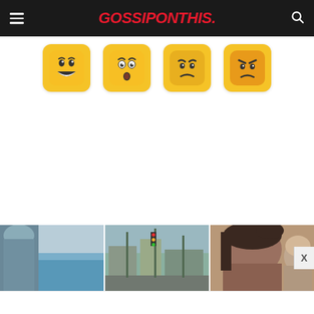GOSSIPONTHIS.
[Figure (illustration): Four emoji icons in rounded yellow squares: grinning face, shocked/surprised face, worried/confused face, angry face]
[Figure (photo): Three thumbnail photos side by side: a person near the ocean, a street scene with trees and traffic lights, a close-up of a person's face with another figure in background. An X close button appears at the right edge.]